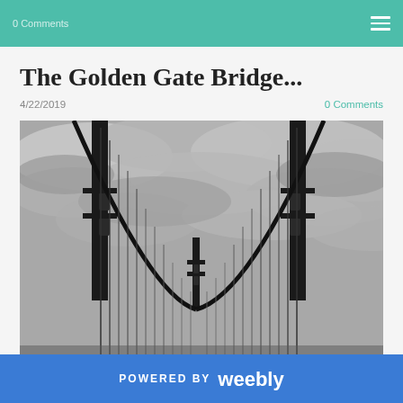0 Comments
The Golden Gate Bridge...
4/22/2019    0 Comments
[Figure (photo): Black and white photograph of the Golden Gate Bridge taken from below, looking up at the towers and suspension cables against a dramatic cloudy sky.]
POWERED BY Weebly